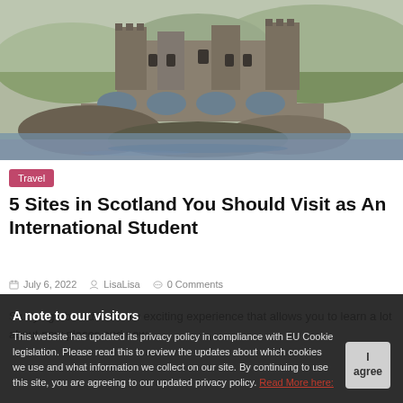[Figure (photo): Photograph of a Scottish castle (Eilean Donan) with a stone arched bridge reflected in water, surrounded by rocky landscape and green hills]
Travel
5 Sites in Scotland You Should Visit as An International Student
July 6, 2022  LisaLisa  0 Comments
Studying abroad is a new exciting experience that allows you to learn a lot about new places and new
A note to our visitors
This website has updated its privacy policy in compliance with EU Cookie legislation. Please read this to review the updates about which cookies we use and what information we collect on our site. By continuing to use this site, you are agreeing to our updated privacy policy. Read More here: